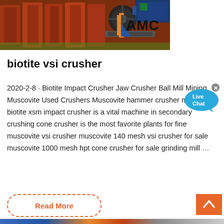[Figure (photo): Industrial jaw crusher machinery with red metal frames and rotating wheel, with AMC logo overlay]
biotite vsi crusher
2020-2-8 · Biotite Impact Crusher Jaw Crusher Ball Mill Mining. Muscovite Used Crushers Muscovite hammer crusher mica biotite xsm impact crusher is a vital machine in secondary crushing cone crusher is the most favorite plants for fine muscovite vsi crusher muscovite 140 mesh vsi crusher for sale muscovite 1000 mesh hpt cone crusher for sale grinding mill …
[Figure (other): Live Chat speech bubble icon in blue]
Read More
[Figure (other): Orange back-to-top button with upward chevron arrow]
[Figure (photo): Partial bottom image strip showing industrial equipment]